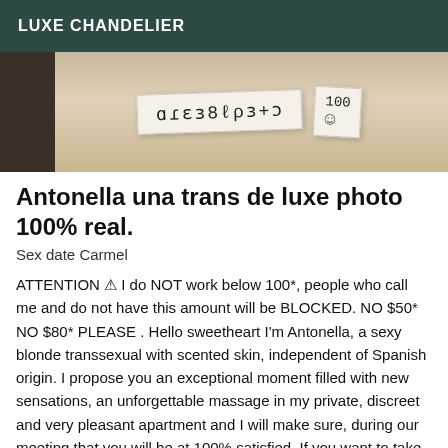LUXE CHANDELIER
[Figure (photo): Photograph showing a handwritten note or paper with characters/numbers, partially cropped, with a dark left edge.]
Antonella una trans de luxe photo 100% real.
Sex date Carmel
ATTENTION ⚠ I do NOT work below 100*, people who call me and do not have this amount will be BLOCKED. NO $50* NO $80* PLEASE . Hello sweetheart I'm Antonella, a sexy blonde transsexual with scented skin, independent of Spanish origin. I propose you an exceptional moment filled with new sensations, an unforgettable massage in my private, discreet and very pleasant apartment and I will make sure, during our meeting that you will be at 100% satisfied. If you want to take your mind off things and bring some fresh air to your day and have an unforgettable time then come and